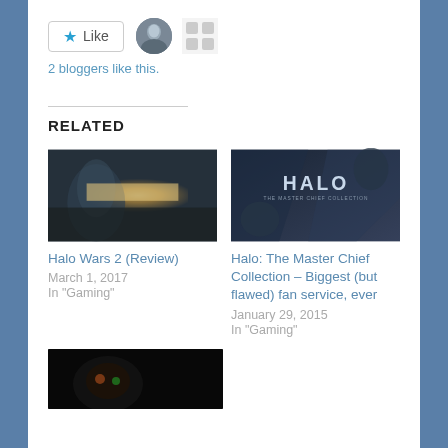[Figure (other): Like button with star icon, two blogger avatar thumbnails]
2 bloggers like this.
RELATED
[Figure (photo): Halo Wars 2 cinematic image showing alien figure with bright sky light]
Halo Wars 2 (Review)
March 1, 2017
In "Gaming"
[Figure (photo): Halo: The Master Chief Collection dark promotional art with HALO logo]
Halo: The Master Chief Collection – Biggest (but flawed) fan service, ever
January 29, 2015
In "Gaming"
[Figure (photo): Dark gaming screenshot with orange/green glowing helmet visor]